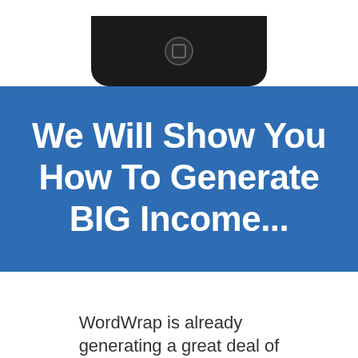[Figure (illustration): Bottom portion of a smartphone (black) showing the home button, on a white background]
We Will Show You How To Generate BIG Income...
WordWrap is already generating a great deal of